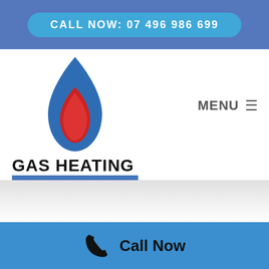CALL NOW: 07 496 986 699
[Figure (logo): Gas Heating Solutions logo: blue water-drop flame with red inner flame, text GAS HEATING in black bold, SOLUTIONS in light blue on blue background]
MENU ≡
Call Now